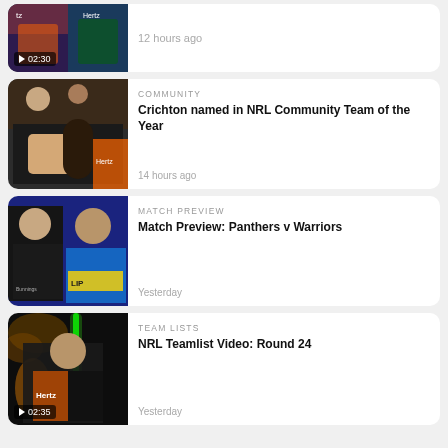[Figure (screenshot): Partial card at top: rugby players, video duration 02:30]
12 hours ago
[Figure (screenshot): Thumbnail: person getting tattoo at rugby event]
COMMUNITY
Crichton named in NRL Community Team of the Year
14 hours ago
[Figure (screenshot): Thumbnail: two rugby players facing each other]
MATCH PREVIEW
Match Preview: Panthers v Warriors
Yesterday
[Figure (screenshot): Thumbnail: rugby player with green light saber, video duration 02:35]
TEAM LISTS
NRL Teamlist Video: Round 24
Yesterday